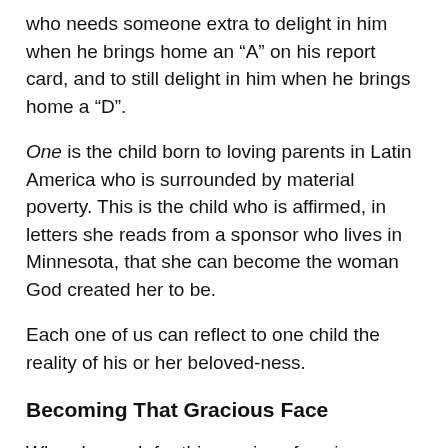who needs someone extra to delight in him when he brings home an “A” on his report card, and to still delight in him when he brings home a “D”.
One is the child born to loving parents in Latin America who is surrounded by material poverty. This is the child who is affirmed, in letters she reads from a sponsor who lives in Minnesota, that she can become the woman God created her to be.
Each one of us can reflect to one child the reality of his or her beloved-ness.
Becoming That Gracious Face
When I search for this gracious face in my mind’s eye, it’s most often a non-anxious one that gently assures a child that he’s accepted, embraced, valued, loved. It’s a countenance that weeps with those who weep and rejoices with those who rejoice. It’s a face that’s angered by